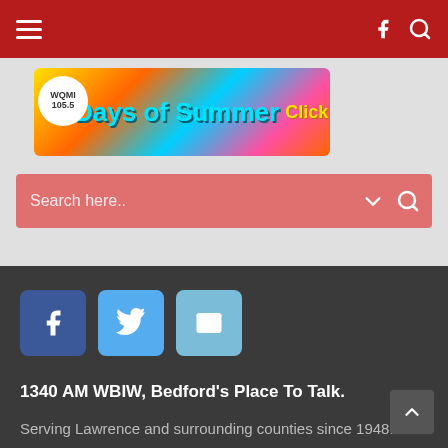Navigation bar with hamburger menu, Facebook icon, and search icon on dark red background
[Figure (illustration): Colorful summer promotional banner reading 'Days of Summer Click Here' with WQMI 105.5 logo, bright cyan text on colorful background with watermelon and party imagery]
Search here..
[Figure (infographic): Social media icon buttons: Facebook (dark blue), Twitter (blue), Email (light blue)]
1340 AM WBIW, Bedford's Place To Talk.
Serving Lawrence and surrounding counties since 1948!